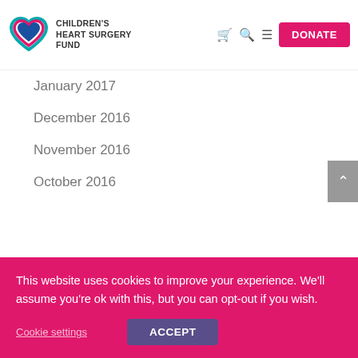Children's Heart Surgery Fund — DONATE
January 2017
December 2016
November 2016
October 2016
September 2016
August 2016
July 2016
June 2016
May 2016
February 2016
This website uses cookies to improve your experience. We'll assume you're ok with this, but you can opt-out if you wish.
Cookie settings   ACCEPT